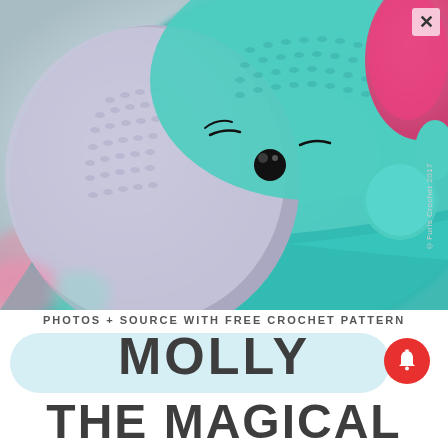[Figure (photo): Close-up photo of a crocheted amigurumi unicorn toy. The unicorn has a gray/lavender face, teal/aqua body, black button eye, sewn eyelash detail, and a bright pink horn/mane visible on the right side. The background is blurred with soft pastel colors. A vertical watermark reads '©Furls Crochet 2017'.]
PHOTOS + SOURCE WITH FREE CROCHET PATTERN
MOLLY
THE MAGICAL UNICORN